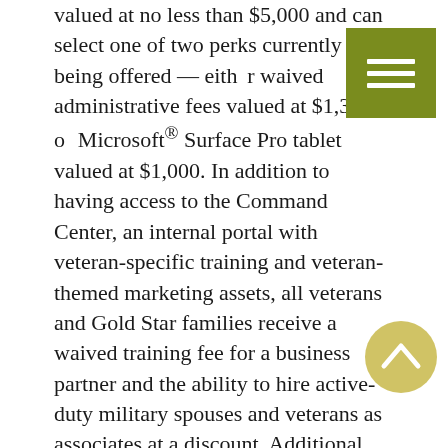valued at no less than $5,000 and can select one of two perks currently being offered — either waived administrative fees valued at $1,350 or a Microsoft® Surface Pro tablet valued at $1,000. In addition to having access to the Command Center, an internal portal with veteran-specific training and veteran-themed marketing assets, all veterans and Gold Star families receive a waived training fee for a business partner and the ability to hire active-duty military spouses and veterans as associates at a discount. Additional veteran incentives include the ability to move residences and stay in business, travel discounts for military customers and access to veteran networking groups.
As the only travel franchise to receive a 5 STAR ranking from VetFran, Dream Vacations proudly supports military veterans and is consistently recognized by leading industry publications as a veteran-friendly franchise. Since 2017 it has been